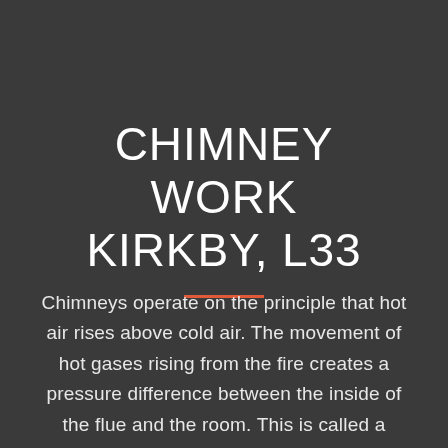CHIMNEY WORK KIRKBY, L33
Chimneys operate on the principle that hot air rises above cold air. The movement of hot gases rising from the fire creates a pressure difference between the inside of the flue and the room. This is called a “draught” and it forces air into the fireplace, this air feeds the flames as it rushes past the fire